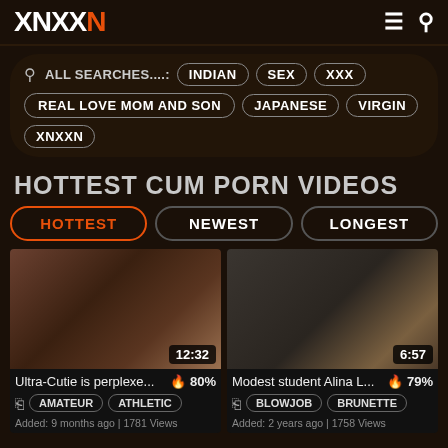XNXXN
ALL SEARCHES....: INDIAN SEX XXX REAL LOVE MOM AND SON JAPANESE VIRGIN XNXXN
HOTTEST CUM PORN VIDEOS
HOTTEST | NEWEST | LONGEST
[Figure (screenshot): Video thumbnail 1: duration 12:32]
[Figure (screenshot): Video thumbnail 2: duration 6:57]
Ultra-Cutie is perplexe... 🔥 80%
Modest student Alina L... 🔥 79%
AMATEUR | ATHLETIC
BLOWJOB | BRUNETTE
Added: 9 months ago | 1781 Views
Added: 2 years ago | 1758 Views